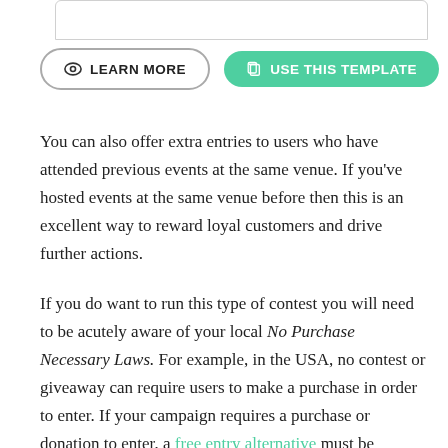[Figure (screenshot): Top portion of a UI card/box with rounded border, partially visible]
LEARN MORE
USE THIS TEMPLATE
You can also offer extra entries to users who have attended previous events at the same venue. If you've hosted events at the same venue before then this is an excellent way to reward loyal customers and drive further actions.
If you do want to run this type of contest you will need to be acutely aware of your local No Purchase Necessary Laws. For example, in the USA, no contest or giveaway can require users to make a purchase in order to enter. If your campaign requires a purchase or donation to enter, a free entry alternative must be